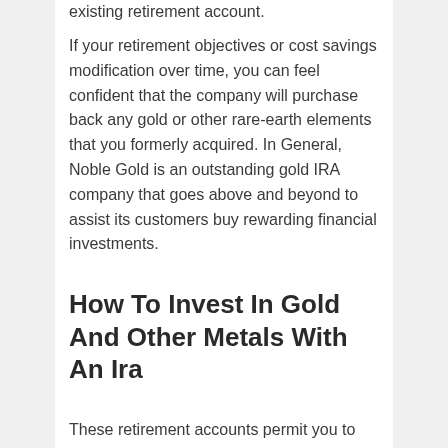existing retirement account.
If your retirement objectives or cost savings modification over time, you can feel confident that the company will purchase back any gold or other rare-earth elements that you formerly acquired. In General, Noble Gold is an outstanding gold IRA company that goes above and beyond to assist its customers buy rewarding financial investments.
How To Invest In Gold And Other Metals With An Ira
These retirement accounts permit you to invest in index funds, stocks,